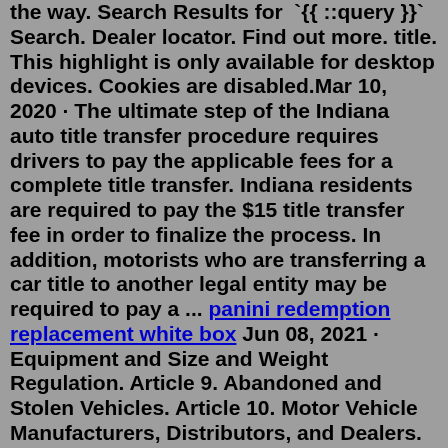the way. Search Results for `{{ ::query }}` Search. Dealer locator. Find out more. title. This highlight is only available for desktop devices. Cookies are disabled.Mar 10, 2020 · The ultimate step of the Indiana auto title transfer procedure requires drivers to pay the applicable fees for a complete title transfer. Indiana residents are required to pay the $15 title transfer fee in order to finalize the process. In addition, motorists who are transferring a car title to another legal entity may be required to pay a ... panini redemption replacement white box Jun 08, 2021 · Equipment and Size and Weight Regulation. Article 9. Abandoned and Stolen Vehicles. Article 10. Motor Vehicle Manufacturers, Distributors, and Dealers. Article 11. Operating A Vehicle While Intoxicated. Article 12. Habitual Violators of Traffic Laws. Search Titles. ×. BMV IN.gov. Indiana residents are required to obtain an Indiana certificate of title for all vehicles, excluding those that are specifically exempt under Indiana law.Madison County Driving Records Search; DMVs Nearby. Find